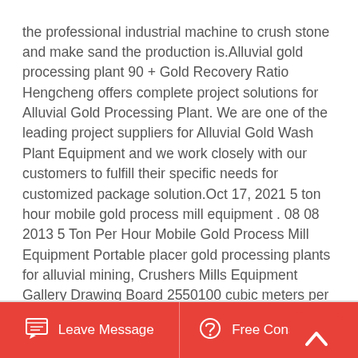the professional industrial machine to crush stone and make sand the production is.Alluvial gold processing plant 90 + Gold Recovery Ratio Hengcheng offers complete project solutions for Alluvial Gold Processing Plant. We are one of the leading project suppliers for Alluvial Gold Wash Plant Equipment and we work closely with our customers to fulfill their specific needs for customized package solution.Oct 17, 2021 5 ton hour mobile gold process mill equipment . 08 08 2013 5 Ton Per Hour Mobile Gold Process Mill Equipment Portable placer gold processing plants for alluvial mining, Crushers Mills Equipment Gallery Drawing Board 2550100 cubic meters per hour detailed 600 ton hour impact crusher for sale, ore processing plant 600 ton hour impact.
[Figure (other): Red rounded square button with a white upward chevron/arrow icon (scroll to top button)]
Leave Message   Free Consultation